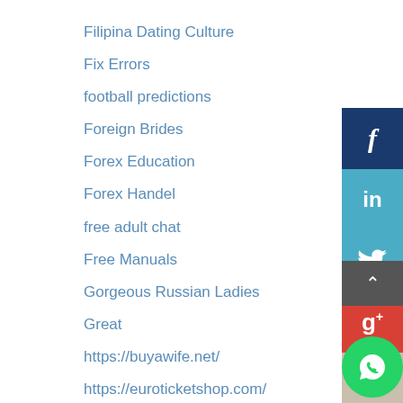Filipina Dating Culture
Fix Errors
football predictions
Foreign Brides
Forex Education
Forex Handel
free adult chat
Free Manuals
Gorgeous Russian Ladies
Great
https://buyawife.net/
https://euroticketshop.com/
https://kevinlileschallenge.com/
https://khersonbrides.net/
[Figure (infographic): Social media share buttons sidebar: Facebook (dark blue with f), LinkedIn (teal with 'in'), Twitter (teal with bird), Google+ (red with g+), Instagram (beige with camera icon), plus a scroll-to-top arrow button and a WhatsApp floating button]